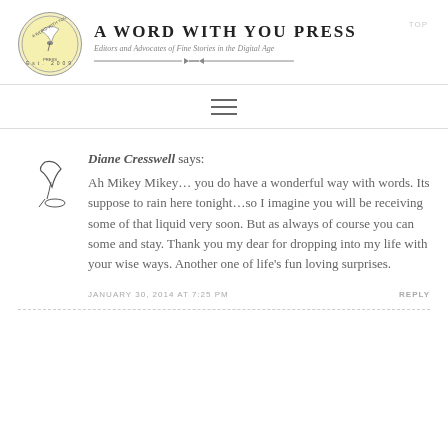[Figure (logo): A Word With You Press circular logo with quill pen, yellow background, Est. 2009]
A Word With You Press
Editors and Advocates of Fine Stories in the Digital Age
≡ (hamburger menu icon)
[Figure (illustration): Small quill pen and ink illustration used as comment avatar]
Diane Cresswell says:
Ah Mikey Mikey… you do have a wonderful way with words. Its suppose to rain here tonight…so I imagine you will be receiving some of that liquid very soon. But as always of course you can some and stay. Thank you my dear for dropping into my life with your wise ways. Another one of life's fun loving surprises.
JANUARY 30, 2014 AT 7:25 PM
REPLY